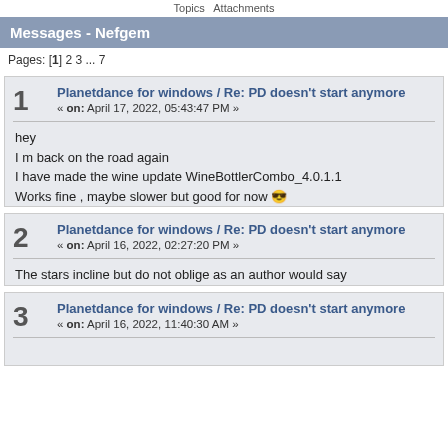Topics   Attachments
Messages - Nefgem
Pages: [1] 2 3 ... 7
1  Planetdance for windows / Re: PD doesn't start anymore
« on: April 17, 2022, 05:43:47 PM »
hey
I m back on the road again
I have made the wine update WineBottlerCombo_4.0.1.1
Works fine , maybe slower but good for now 😎
2  Planetdance for windows / Re: PD doesn't start anymore
« on: April 16, 2022, 02:27:20 PM »
The stars incline but do not oblige as an author would say
3  Planetdance for windows / Re: PD doesn't start anymore
« on: April 16, 2022, 11:40:30 AM »